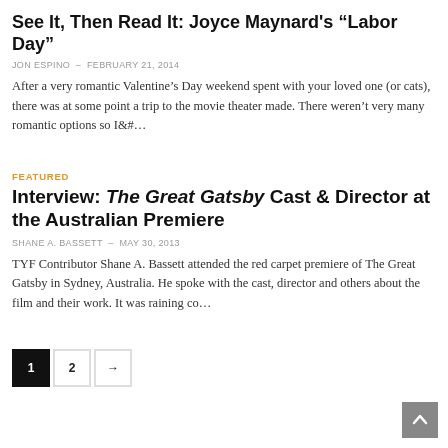See It, Then Read It: Joyce Maynard's “Labor Day”
JON ESPINO – FEBRUARY 21, 2014
After a very romantic Valentine’s Day weekend spent with your loved one (or cats), there was at some point a trip to the movie theater made. There weren’t very many romantic options so I&#…
FEATURED
Interview: The Great Gatsby Cast & Director at the Australian Premiere
SHANE A. BASSETT – MAY 30, 2013
TYF Contributor Shane A. Bassett attended the red carpet premiere of The Great Gatsby in Sydney, Australia. He spoke with the cast, director and others about the film and their work. It was raining co…
1
2
→